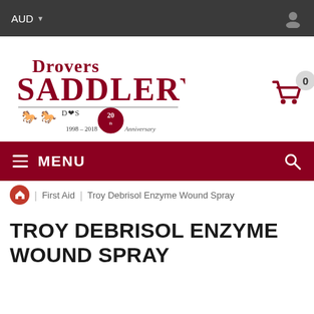AUD
[Figure (logo): Drovers Saddlery logo with horse and cart imagery and 20th Anniversary badge (1998-2018)]
0
MENU
First Aid | Troy Debrisol Enzyme Wound Spray
TROY DEBRISOL ENZYME WOUND SPRAY